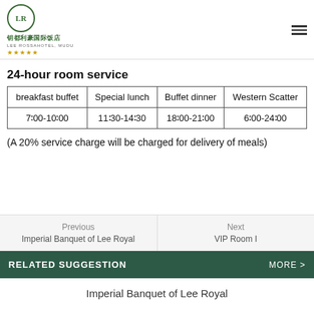LR 钥都利豪国际饭店 LEE ROSSAHOTEL, MUDU ★★★★★
24-hour room service
| breakfast buffet | Special lunch | Buffet dinner | Western Scatter |
| --- | --- | --- | --- |
| 7∶00-10∶00 | 11∶30-14∶30 | 18∶00-21∶00 | 6∶00-24∶00 |
(A 20% service charge will be charged for delivery of meals)
Previous
Imperial Banquet of Lee Royal
Next
VIP Room I
RELATED SUGGESTION MORE >
Imperial Banquet of Lee Royal